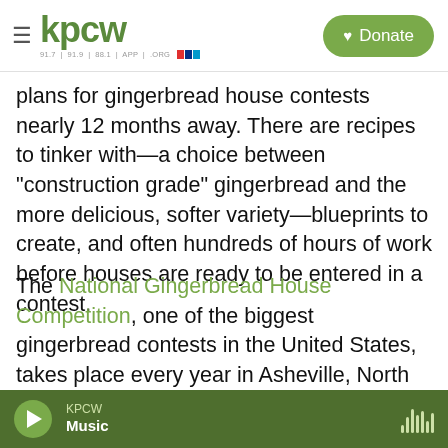KPCW — 91.7 | 91.9 | 88.1 | APP | .ORG — Donate
plans for gingerbread house contests nearly 12 months away. There are recipes to tinker with—a choice between "construction grade" gingerbread and the more delicious, softer variety—blueprints to create, and often hundreds of hours of work before houses are ready to be entered in a contest.
The National Gingerbread House Competition, one of the biggest gingerbread contests in the United States, takes place every year in Asheville, North Carolina. It started in 1992, when members of the local community were invited to display their gingerbread houses in The Omni Grove Park Inn's
KPCW — Music